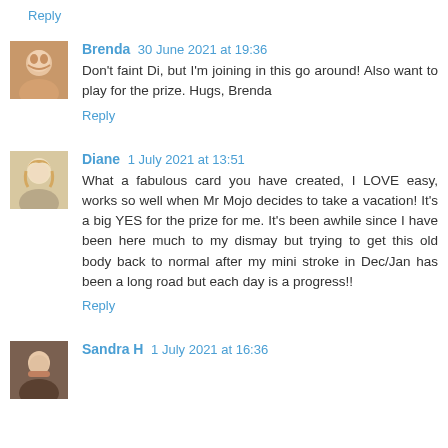Reply
[Figure (photo): Avatar photo of Brenda]
Brenda 30 June 2021 at 19:36
Don't faint Di, but I'm joining in this go around! Also want to play for the prize. Hugs, Brenda
Reply
[Figure (photo): Avatar photo of Diane]
Diane 1 July 2021 at 13:51
What a fabulous card you have created, I LOVE easy, works so well when Mr Mojo decides to take a vacation! It's a big YES for the prize for me. It's been awhile since I have been here much to my dismay but trying to get this old body back to normal after my mini stroke in Dec/Jan has been a long road but each day is a progress!!
Reply
[Figure (photo): Avatar photo of Sandra H]
Sandra H 1 July 2021 at 16:36